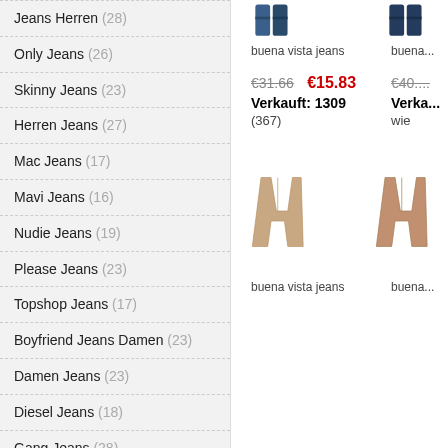Jeans Herren (28)
Only Jeans (26)
Skinny Jeans (23)
Herren Jeans (27)
Mac Jeans (17)
Mavi Jeans (16)
Nudie Jeans (19)
Please Jeans (23)
Topshop Jeans (17)
Boyfriend Jeans Damen (23)
Damen Jeans (23)
Diesel Jeans (18)
Gang Jeans (28)
Herrlicher Jeans (21)
Bootcut Jeans (26)
Buena Vista Jeans (11)
[Figure (photo): Two pairs of jeans shown as small thumbnails at the top of the product listing area]
buena vista jeans    buena...
€31.66  €15.83   €40...
Verkauft: 1309    Verka...
(367)    wie
[Figure (photo): Two pairs of jeans shown as small thumbnails in the middle of the product listing area]
buena vista jeans    buena...